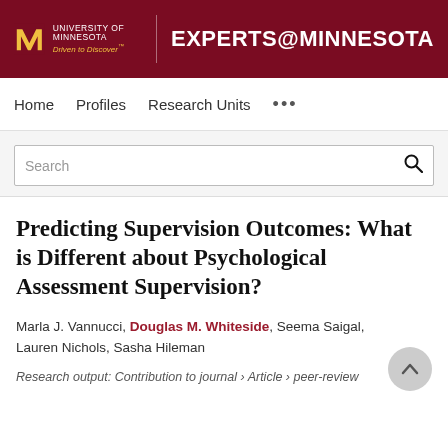[Figure (logo): University of Minnesota Experts@Minnesota header banner with maroon background, gold M logo, and white text]
Home   Profiles   Research Units   ...
Search
Predicting Supervision Outcomes: What is Different about Psychological Assessment Supervision?
Marla J. Vannucci, Douglas M. Whiteside, Seema Saigal, Lauren Nichols, Sasha Hileman
Research output: Contribution to journal › Article › peer-review